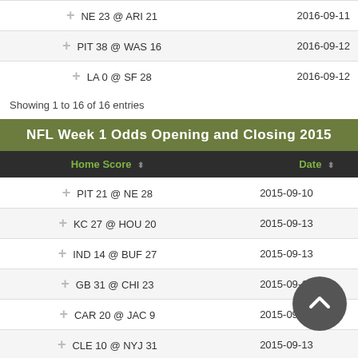| Home Score | Date |
| --- | --- |
| NE 23 @ ARI 21 | 2016-09-11 |
| PIT 38 @ WAS 16 | 2016-09-12 |
| LA 0 @ SF 28 | 2016-09-12 |
Showing 1 to 16 of 16 entries
NFL Week 1 Odds Opening and Closing 2015
| Home Score | Date |
| --- | --- |
| PIT 21 @ NE 28 | 2015-09-10 |
| KC 27 @ HOU 20 | 2015-09-13 |
| IND 14 @ BUF 27 | 2015-09-13 |
| GB 31 @ CHI 23 | 2015-09-13 |
| CAR 20 @ JAC 9 | 2015-09-13 |
| CLE 10 @ NYJ 31 | 2015-09-13 |
| MIA 17 @ WAS 10 | 2015-09-... |
| SEA 31 @ STL 34 | 2015-... |
| DET 28 @ SD 33 | 2015-09-... |